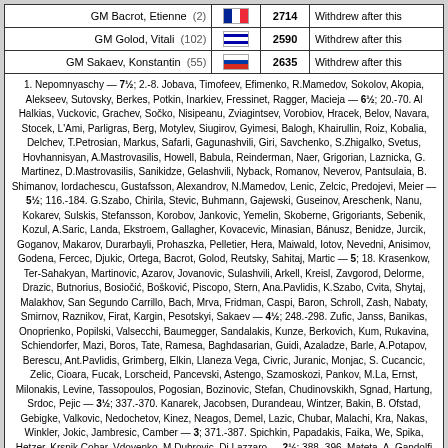| Player | Seed | Flag | ELO | Note |
| --- | --- | --- | --- | --- |
| GM Bacrot, Etienne | (2) | FR | 2714 | Withdrew after this |
| GM Golod, Vitali | (102) | IL | 2590 | Withdrew after this |
| GM Sakaev, Konstantin | (55) | RU | 2635 | Withdrew after this |
1. Nepomnyaschy — 7½; 2.-8. Jobava, Timofeev, Efimenko, R.Mamedov, Sokolov, Akopia, Alekseev, Sutovsky, Berkes, Potkin, Inarkiev, Fressinet, Ragger, Macieja — 6½; 20.-70. Halkias, Vuckovic, Grachev, Sočko, Nisipeanu, Zviagintsev, Vorobiov, Hracek, Belov, Navara, Stocek, L'Ami, Parligras, Berg, Motylev, Siugirov, Gyimesi, Balogh, Khairullin, Roiz, Kobalia, Delchev, T.Petrosian, Markus, Safarli, Gagunashvili, Giri, Savchenko, S.Zhigalko, Svetus, Hovhannisyan, A.Mastrovasilis, Howell, Babula, Reinderman, Naer, Grigorian, Laznicka, G. Martinez, D.Mastrovasilis, Sanikidze, Gelashvili, Nyback, Romanov, Neverov, Pantsulaia, B. Shimanov, Iordachescu, Gustafsson, Alexandrov, N.Mamedov, Lenic, Zelcic, Predojevic, Meier — 5½; 116.-184. G.Szabo, Chirila, Stevic, Buhmann, Gajewski, Guseinov, Areschenk, Nanu, Kokarev, Sulskis, Stefansson, Korobov, Jankovic, Yemelin, Skoberne, Grigoriants, Sebenik, Kozul, A.Saric, Landa, Ekstroem, Gallagher, Kovacevic, Minasian, Bánusz, Benidze, Jurcik, Goganov, Makarov, Durarbayli, Prohaszka, Pelletier, Hera, Maiwald, Iotov, Nevedni, Anisimov, Godena, Fercec, Djukic, Ortega, Bacrot, Golod, Reutsky, Sahitaj, Martic — 5; 18. Krasenkow, Ter-Sahakyan, Martinovic, Azarov, Jovanovic, Sulashvili, Arkell, Kreisl, Zavgorod, Delorme, Drazic, Butnorius, Bosiočić, Bošković, Piscopo, Stern, Ana.Pavlidis, K.Szabo, Cvita, Shytaj, Malakhov, San Segundo Carrillo, Bach, Mrva, Fridman, Caspi, Baron, Schroll, Zash, Nabaty, Smirnov, Raznikov, Firat, Kargin, Pesotskyi, Sakaev — 4½; 248.-298. Zufic, Janss, Banikas, Onoprienko, Popilski, Valsecchi, Baumegger, Sandalakis, Kunze, Berkovich, Kum, Rukavina, Schiendorfer, Mazi, Boros, Tate, Ramesa, Baghdasarian, Guidi, Azaladze, Barle, A.Potapov, Berescu, Ant.Pavlidis, Grimberg, Elkin, Llaneza Vega, Civric, Juranic, Monjac, S. Cucancic, Zelic, Cioara, Fucak, Lorscheid, Pancevski, Astengo, Szamoskozi, Pankov, M.La, Ernst, Milonakis, Levine, Tassopoulos, Pogosian, Bozinovic, Stefan, Chudinovskikh, Sgnad, Hartung, Srdoc, Pejic — 3½; 337.-370. Kanarek, Jacobsen, Durandeau, Wintzer, Bakin, B. Ofstad, Gebigke, Valkovic, Nedochetov, Kinez, Neagos, Demel, Lazic, Chubar, Malachi, Kra, Nakas, Winkler, Jokic, Jambresic, Camber — 3; 371.-387. Spichkin, Papadakis, Faika, We, Spika, Hetzer, Krsnik Cohar, Vdovenko, M.Dubrovic, Di Lazzaro — 2½; 388.-396. Mateta, A. Gandolfi — 2; 397.-401. Dujic, Tomulic, Cabrijan, Von Mahren, .R.Dubrovic — 1½; 40. 407.-408. Haznedaroglu, Muskard